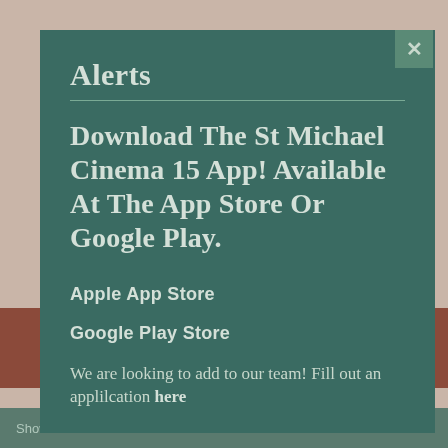Alerts
Download The St Michael Cinema 15 App! Available At The App Store Or Google Play.
Apple App Store
Google Play Store
We are looking to add to our team! Fill out an applilcation here
Showtimes   Drive-In